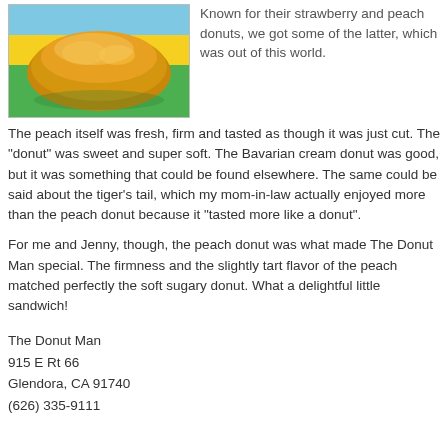[Figure (photo): Photo of a peach donut on a colorful plate with blue, yellow, and green stripes]
Known for their strawberry and peach donuts, we got some of the latter, which was out of this world.
The peach itself was fresh, firm and tasted as though it was just cut. The "donut" was sweet and super soft. The Bavarian cream donut was good, but it was something that could be found elsewhere. The same could be said about the tiger's tail, which my mom-in-law actually enjoyed more than the peach donut because it "tasted more like a donut".
For me and Jenny, though, the peach donut was what made The Donut Man special. The firmness and the slightly tart flavor of the peach matched perfectly the soft sugary donut. What a delightful little sandwich!
The Donut Man
915 E Rt 66
Glendora, CA 91740
(626) 335-9111